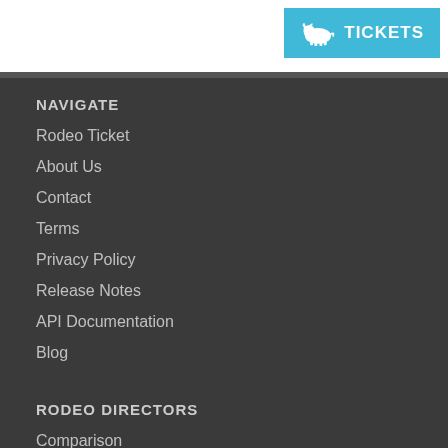[Figure (logo): Tickets button with bison/buffalo icon on cyan background in top right corner]
NAVIGATE
Rodeo Ticket
About Us
Contact
Terms
Privacy Policy
Release Notes
API Documentation
Blog
RODEO DIRECTORS
Comparison
Benefits
How to Organize a Rodeo
How to Grow Your Rodeo